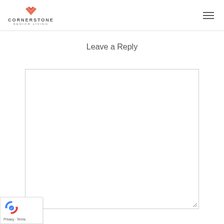CORNERSTONE SENIOR LIVING
Leave a Reply
[Figure (other): Empty comment reply text area input box]
[Figure (other): reCAPTCHA badge with Privacy and Terms links]